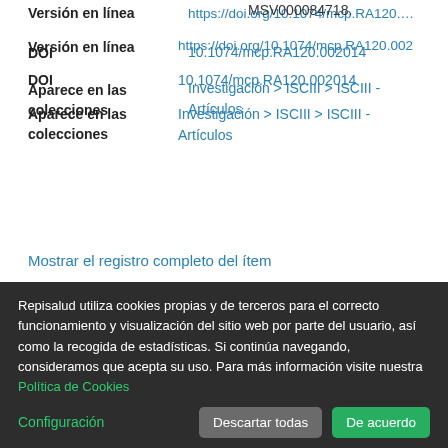MSV000084718.
| Versión en línea | https://doi.org/10.1074/mcp.RA120.002... |
| DOI | 10.1074/mcp.RA120.002014 |
| Aparece en las colecciones | Investigación > ISCIII > ISCIII - Artículos |
Mostrar el registro completo del ítem
Ficheros en el ítem
Repisalud utiliza cookies propias y de terceros para el correcto funcionamiento y visualización del sitio web por parte del usuario, así como la recogida de estadísticas. Si continúa navegando, consideramos que acepta su uso. Para más información visite nuestra Política de Cookies
Configuración | Descartar todas | De acuerdo